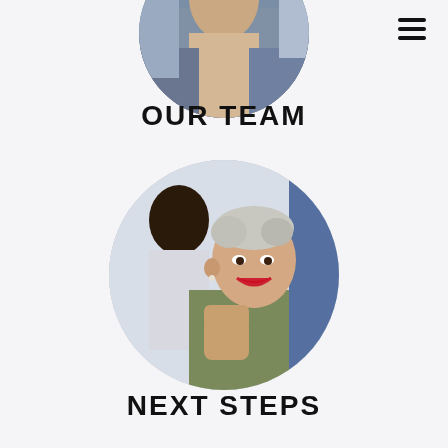[Figure (photo): Circular cropped photo at top of page showing a person, partially cut off at top of page, blurred background interior scene]
OUR TEAM
[Figure (photo): Circular cropped photo of a smiling woman with short silver/blonde hair wearing an olive green hoodie, another person with dark hair visible behind her in a blurred indoor setting]
NEXT STEPS